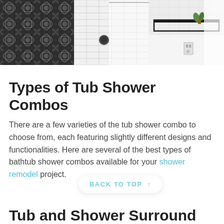[Figure (photo): Bathroom photos showing tub shower combo: left panel shows black and white geometric patterned tiles, middle panel shows white subway tile shower with chrome fixture, right panel shows white bathroom with black shelf and plant]
Types of Tub Shower Combos
There are a few varieties of the tub shower combo to choose from, each featuring slightly different designs and functionalities. Here are several of the best types of bathtub shower combos available for your shower remodel project.
BACK TO TOP ↑
Tub and Shower Surround